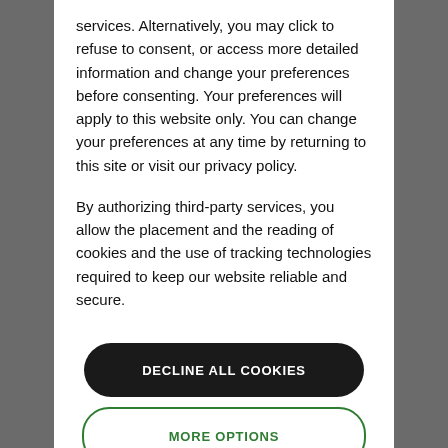services. Alternatively, you may click to refuse to consent, or access more detailed information and change your preferences before consenting. Your preferences will apply to this website only. You can change your preferences at any time by returning to this site or visit our privacy policy.

By authorizing third-party services, you allow the placement and the reading of cookies and the use of tracking technologies required to keep our website reliable and secure.
DECLINE ALL COOKIES
MORE OPTIONS
ACCEPT ALL